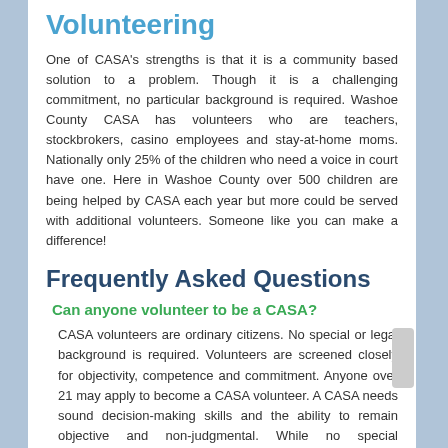Volunteering
One of CASA's strengths is that it is a community based solution to a problem. Though it is a challenging commitment, no particular background is required. Washoe County CASA has volunteers who are teachers, stockbrokers, casino employees and stay-at-home moms. Nationally only 25% of the children who need a voice in court have one. Here in Washoe County over 500 children are being helped by CASA each year but more could be served with additional volunteers. Someone like you can make a difference!
Frequently Asked Questions
Can anyone volunteer to be a CASA?
CASA volunteers are ordinary citizens. No special or legal background is required. Volunteers are screened closely for objectivity, competence and commitment. Anyone over 21 may apply to become a CASA volunteer. A CASA needs sound decision-making skills and the ability to remain objective and non-judgmental. While no special educational background